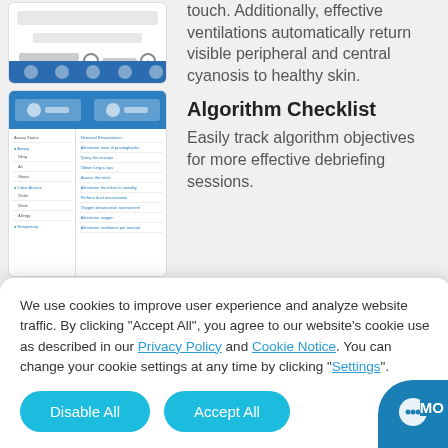[Figure (screenshot): Mobile app screenshot showing patient simulator UI with slider controls and bottom navigation bar with icons]
touch. Additionally, effective ventilations automatically return visible peripheral and central cyanosis to healthy skin.
[Figure (screenshot): Mobile app screenshot showing algorithm checklist with blue header, left nav panel with categories and right panel with checklist items]
Algorithm Checklist
Easily track algorithm objectives for more effective debriefing sessions.
We use cookies to improve user experience and analyze website traffic. By clicking "Accept All", you agree to our website's cookie use as described in our Privacy Policy and Cookie Notice. You can change your cookie settings at any time by clicking "Settings".
Disable All
Accept All